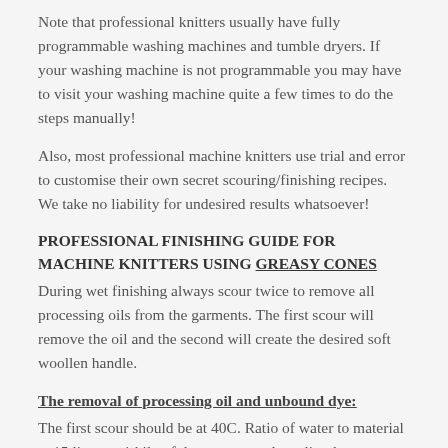Note that professional knitters usually have fully programmable washing machines and tumble dryers. If your washing machine is not programmable you may have to visit your washing machine quite a few times to do the steps manually!
Also, most professional machine knitters use trial and error to customise their own secret scouring/finishing recipes. We take no liability for undesired results whatsoever!
PROFESSIONAL FINISHING GUIDE FOR MACHINE KNITTERS USING GREASY CONES
During wet finishing always scour twice to remove all processing oils from the garments. The first scour will remove the oil and the second will create the desired soft woollen handle.
The removal of processing oil and unbound dye:
The first scour should be at 40C. Ratio of water to material at 15 litres to 1 kilo of dry garments. A quality detergent